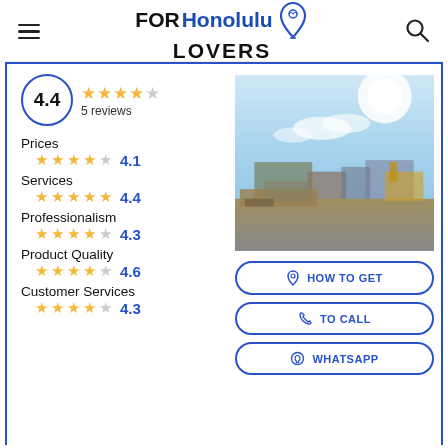FOR Honolulu LOVERS
4.4 — 5 reviews
Prices 4.1
Services 4.4
Professionalism 4.3
Product Quality 4.6
Customer Services 4.3
[Figure (photo): Outdoor photo of a construction or demolition site with sandy ground, debris, machinery, and a bright sky with clouds]
HOW TO GET
TO CALL
WHATSAPP